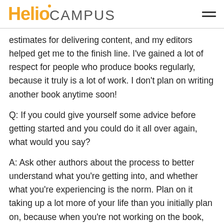HelioCampus
estimates for delivering content, and my editors helped get me to the finish line. I've gained a lot of respect for people who produce books regularly, because it truly is a lot of work. I don't plan on writing another book anytime soon!
Q: If you could give yourself some advice before getting started and you could do it all over again, what would you say?
A: Ask other authors about the process to better understand what you're getting into, and whether what you're experiencing is the norm. Plan on it taking up a lot more of your life than you initially plan on, because when you're not working on the book, you'll likely be thinking about the content, or telling yourself you should be working on it.